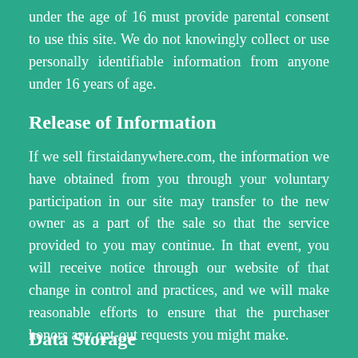under the age of 16 must provide parental consent to use this site. We do not knowingly collect or use personally identifiable information from anyone under 16 years of age.
Release of Information
If we sell firstaidanywhere.com, the information we have obtained from you through your voluntary participation in our site may transfer to the new owner as a part of the sale so that the service provided to you may continue. In that event, you will receive notice through our website of that change in control and practices, and we will make reasonable efforts to ensure that the purchaser honors any opt-out requests you might make.
Data Storage